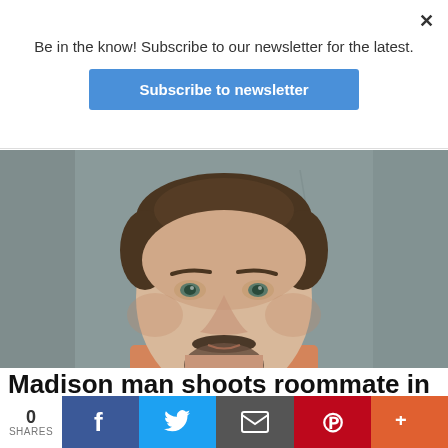Be in the know! Subscribe to our newsletter for the latest.
Subscribe to newsletter
[Figure (photo): Mugshot of a middle-aged man with brown hair, stubble beard, wearing an orange jail uniform, against a gray background]
Madison man shoots roommate in dispute
0 SHARES